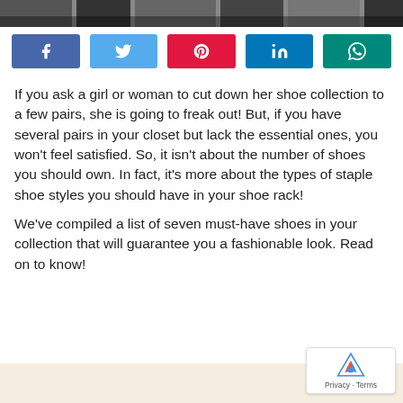[Figure (photo): Top strip showing partial view of shoes at the top of the page]
[Figure (infographic): Social media share buttons: Facebook (blue), Twitter (light blue), Pinterest (red), LinkedIn (dark blue), WhatsApp (teal)]
If you ask a girl or woman to cut down her shoe collection to a few pairs, she is going to freak out! But, if you have several pairs in your closet but lack the essential ones, you won't feel satisfied. So, it isn't about the number of shoes you should own. In fact, it's more about the types of staple shoe styles you should have in your shoe rack!
We've compiled a list of seven must-have shoes in your collection that will guarantee you a fashionable look. Read on to know!